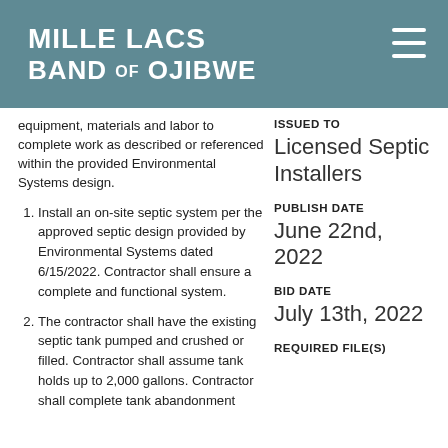MILLE LACS BAND OF OJIBWE
equipment, materials and labor to complete work as described or referenced within the provided Environmental Systems design.
1. Install an on-site septic system per the approved septic design provided by Environmental Systems dated 6/15/2022. Contractor shall ensure a complete and functional system.
2. The contractor shall have the existing septic tank pumped and crushed or filled. Contractor shall assume tank holds up to 2,000 gallons. Contractor shall complete tank abandonment
ISSUED TO
Licensed Septic Installers
PUBLISH DATE
June 22nd, 2022
BID DATE
July 13th, 2022
REQUIRED FILE(S)